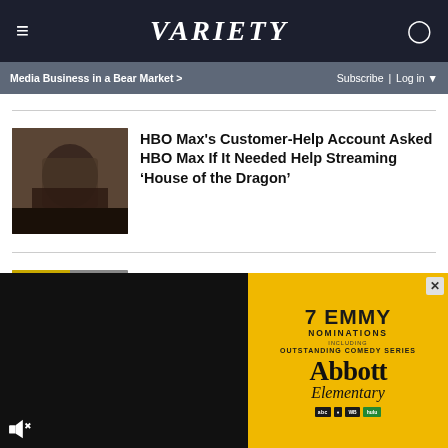VARIETY
Media Business in a Bear Market >
Subscribe | Log in
HBO Max's Customer-Help Account Asked HBO Max If It Needed Help Streaming ‘House of the Dragon’
George R.R. Martin Urged HBO to Make ‘Game of Thrones’ Run for ‘10 Seasons at Least’
‘The Immaculate Room’ Review: Kate Bosworth
[Figure (infographic): Abbott Elementary Emmy nominations advertisement: 7 EMMY NOMINATIONS INCLUDING OUTSTANDING COMEDY SERIES, Abbott Elementary logo, with network logos]
[Figure (photo): Black video player area with speaker/mute icon in bottom left]